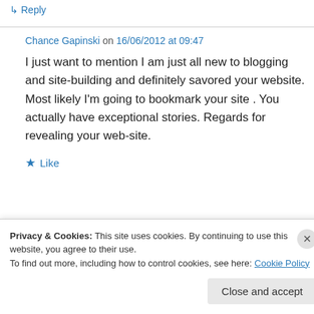↳ Reply
Chance Gapinski on 16/06/2012 at 09:47
I just want to mention I am just all new to blogging and site-building and definitely savored your website. Most likely I'm going to bookmark your site . You actually have exceptional stories. Regards for revealing your web-site.
★ Like
↳ Reply
Privacy & Cookies: This site uses cookies. By continuing to use this website, you agree to their use.
To find out more, including how to control cookies, see here: Cookie Policy
Close and accept